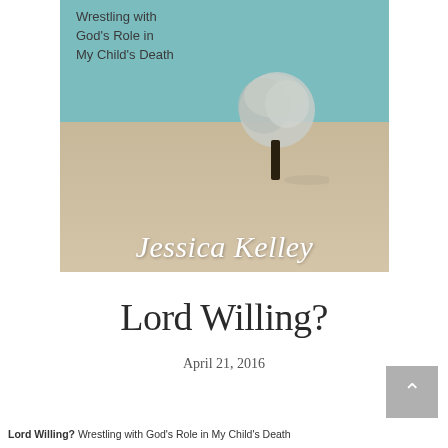[Figure (illustration): Book cover for 'Lord Willing? Wrestling with God's Role in My Child's Death' by Jessica Kelley. Features a teal/blue sky background with a bare winter tree on a sandy/beige snowy landscape. Author name in large white italic serif font at bottom of cover.]
Lord Willing?
April 21, 2016
Lord Willing? Wrestling with God's Role in My Child's Death